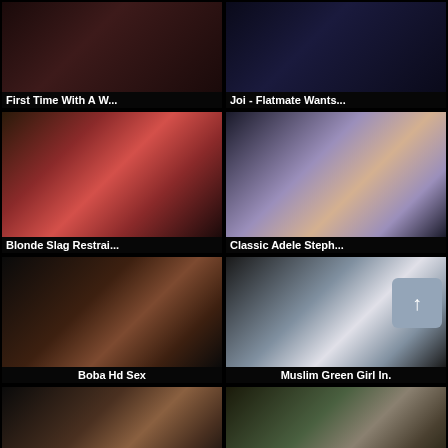[Figure (screenshot): Video thumbnail grid showing 6 video thumbnails with titles, on a black background]
First Time With A W...
Joi - Flatmate Wants...
Blonde Slag Restrai...
Classic Adele Steph...
Boba Hd Sex
Muslim Green Girl In.